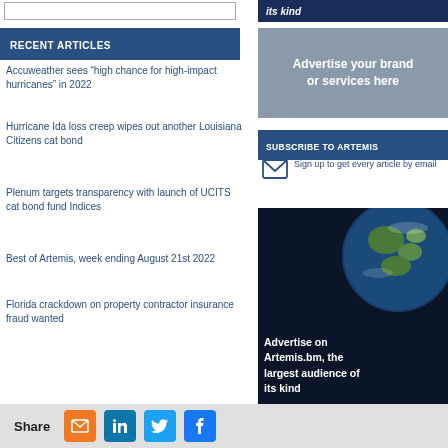[Figure (other): Top partial banner on right column showing 'its kind' text on dark blue background]
[Figure (other): Partial input/search box at top left]
RECENT ARTICLES
[Figure (other): Gray advertisement banner: Advertise your brand or services here]
Accuweather sees “high chance for high-impact hurricanes” in 2022
Hurricane Ida loss creep wipes out another Louisiana Citizens cat bond
Plenum targets transparency with launch of UCITS cat bond fund Indices
Best of Artemis, week ending August 21st 2022
Florida crackdown on property contractor insurance fraud wanted
SUBSCRIBE TO ARTEMIS
Sign up to get every article by email
[Figure (photo): Dark blue background with globe/earth photo and text: Advertise on Artemis.bm, the largest audience of its kind]
Share [email] [linkedin] [twitter] [facebook]